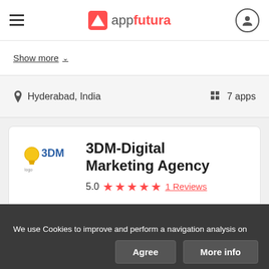appfutura
Show more
Hyderabad, India   7 apps
3DM-Digital Marketing Agency
5.0 ★★★★★ 1 Reviews
We use Cookies to improve and perform a navigation analysis on the website. If you continue browsing, we understand you are accepting its use. You can get more information or learn how to change the settings in our Cookies Policy.
Agree   More info